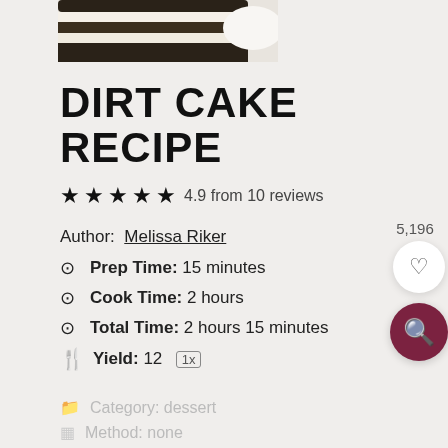[Figure (photo): Partial view of a layered dirt cake on a white plate, showing dark cookie crumb and cream layers, against a light grey background.]
DIRT CAKE RECIPE
★★★★★ 4.9 from 10 reviews
Author: Melissa Riker
⊙ Prep Time: 15 minutes
⊙ Cook Time: 2 hours
⊙ Total Time: 2 hours 15 minutes
Yield: 12  1x
5,196
Category: dessert
Method: none